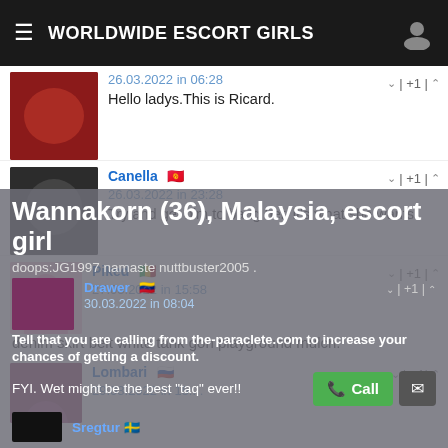WORLDWIDE ESCORT GIRLS
26.03.2022 in 06:28
Hello ladys.This is Ricard.
Canella 🇰🇬
26.03.2022 in 23:28
Try and get him to bang her, it's what she wants.
Piked 🇲🇱
27.03.2022 in 15:58
denim skirt belt white tank goh playground mulch.
Lombari 🇷🇺
29.03.2022 in 15:...
doops:JG1997 namaste nuttbuster2005 .
Drawer 🇻🇪
30.03.2022 in 08:04
FYI. Wet might be the best "taq" ever!!
Wannakorn (36), Malaysia, escort girl
Tell that you are calling from the-paraclete.com to increase your chances of getting a discount.
Sregtur 🇸🇪